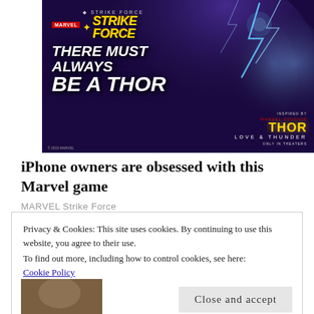[Figure (illustration): Marvel Strike Force advertisement banner featuring a female Thor character wielding a hammer with lightning effects. Text reads 'THERE MUST ALWAYS BE A THOR'. Includes Marvel Strike Force logo and Thor: Love and Thunder movie tie-in branding.]
iPhone owners are obsessed with this Marvel game
MARVEL Strike Force
Privacy & Cookies: This site uses cookies. By continuing to use this website, you agree to their use.
To find out more, including how to control cookies, see here:
Cookie Policy
Close and accept